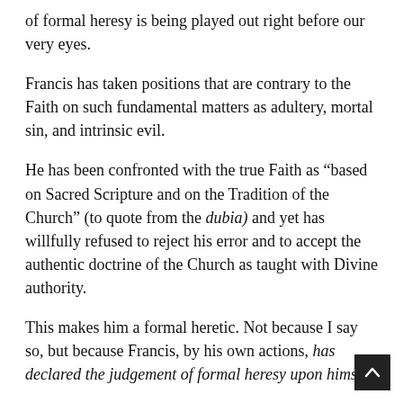of formal heresy is being played out right before our very eyes.
Francis has taken positions that are contrary to the Faith on such fundamental matters as adultery, mortal sin, and intrinsic evil.
He has been confronted with the true Faith as “based on Sacred Scripture and on the Tradition of the Church” (to quote from the dubia) and yet has willfully refused to reject his error and to accept the authentic doctrine of the Church as taught with Divine authority.
This makes him a formal heretic. Not because I say so, but because Francis, by his own actions, has declared the judgement of formal heresy upon himself.
This directly answers the related charge that no one on earth has authority over the pope, and therefore no one has the authority to declare him a formal heretic.